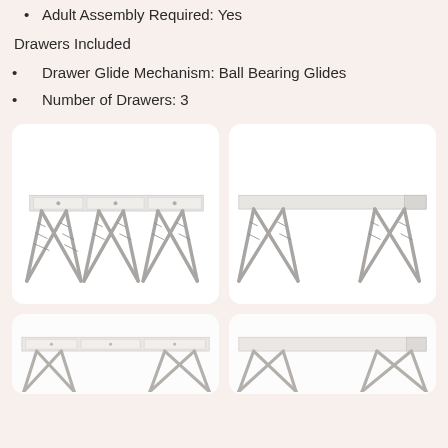Adult Assembly Required: Yes
Drawers Included
Drawer Glide Mechanism: Ball Bearing Glides
Number of Drawers: 3
[Figure (photo): Front view of a white desk with three drawers and silver X-cross metal legs]
[Figure (photo): Side/angle view of the same white desk with silver X-cross metal legs]
[Figure (photo): Partial view of white desk, bottom portion cut off]
[Figure (photo): Partial view of white desk side, bottom portion cut off]